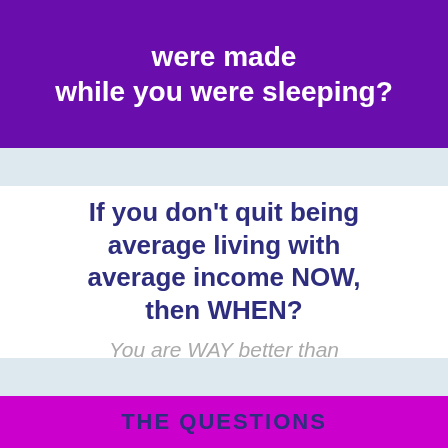were made while you were sleeping?
If you don't quit being average living with average income NOW, then WHEN?
You are WAY better than you think you are!
BOOK A CALL
THE QUESTIONS